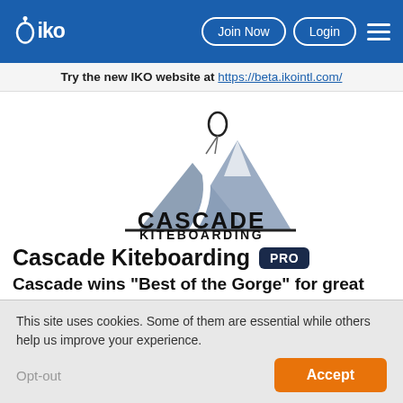IKO - Join Now - Login - Menu
Try the new IKO website at https://beta.ikointl.com/
[Figure (logo): Cascade Kiteboarding logo with mountain and kite illustration, text reads CASCADE KITEBOARDING]
Cascade Kiteboarding PRO
Cascade wins "Best of the Gorge" for great service & instruction
Hood River , Oregon - United States - ★★★★★ - 42 Votes
This site uses cookies. Some of them are essential while others help us improve your experience.